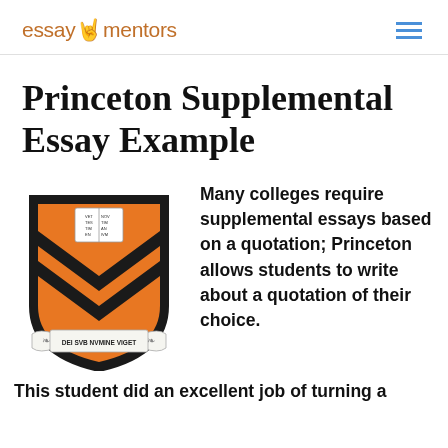essaymentors
Princeton Supplemental Essay Example
[Figure (logo): Princeton University shield/crest with orange and black chevrons, book motif, and scroll reading DEI SVB NVMINE VIGET]
Many colleges require supplemental essays based on a quotation; Princeton allows students to write about a quotation of their choice. This student did an excellent job of turning a